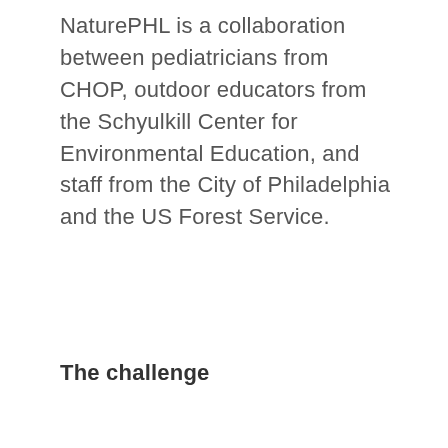NaturePHL is a collaboration between pediatricians from CHOP, outdoor educators from the Schyulkill Center for Environmental Education, and staff from the City of Philadelphia and the US Forest Service.
The challenge